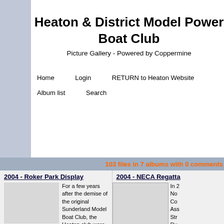Heaton & District Model Power Boat Club
Picture Gallery - Powered by Coppermine
Home    Login    RETURN to Heaton Website    Album list    Search
103 files in 7 albums with 0 comments
2004 - Roker Park Display
For a few years after the demise of the original Sunderland Model Boat Club, the Heaton club were asked
2004 - NECA Regatta
In 2... No... Co... Ass... Str... Ru... Re-... wa... Pa... Fre...